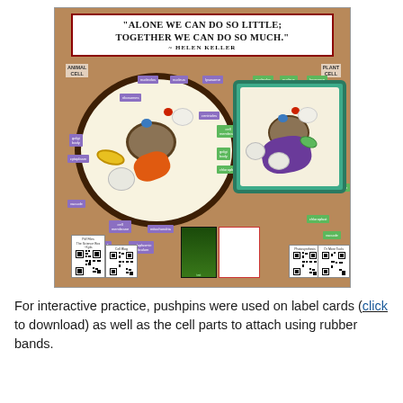[Figure (photo): A classroom bulletin board showing two 3D cell models — an animal cell (circular, made from craft materials on cardboard) and a plant cell (rectangular, in a teal tray) — pinned to a corkboard. Purple label cards identify animal cell parts and green label cards identify plant cell parts. A quote banner at the top reads: 'ALONE WE CAN DO SO LITTLE; TOGETHER WE CAN DO SO MUCH.' — HELEN KELLER. QR codes and printed materials are at the bottom.]
For interactive practice, pushpins were used on label cards (click to download) as well as the cell parts to attach using rubber bands.